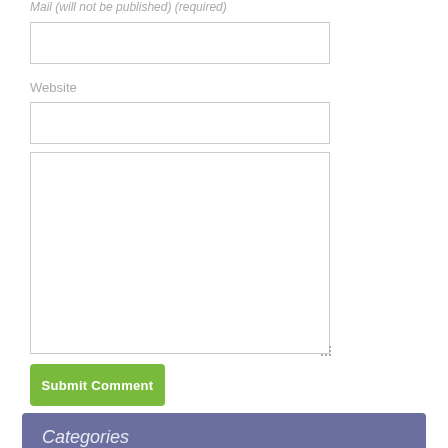Mail (will not be published) (required)
Website
Submit Comment
Categories